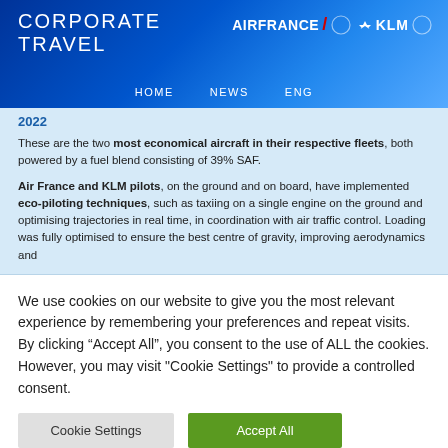CORPORATE TRAVEL | AIRFRANCE KLM | HOME NEWS ENG
2022
These are the two most economical aircraft in their respective fleets, both powered by a fuel blend consisting of 39% SAF.
Air France and KLM pilots, on the ground and on board, have implemented eco-piloting techniques, such as taxiing on a single engine on the ground and optimising trajectories in real time, in coordination with air traffic control. Loading was fully optimised to ensure the best centre of gravity, improving aerodynamics and
We use cookies on our website to give you the most relevant experience by remembering your preferences and repeat visits. By clicking “Accept All”, you consent to the use of ALL the cookies. However, you may visit "Cookie Settings" to provide a controlled consent.
Cookie Settings | Accept All